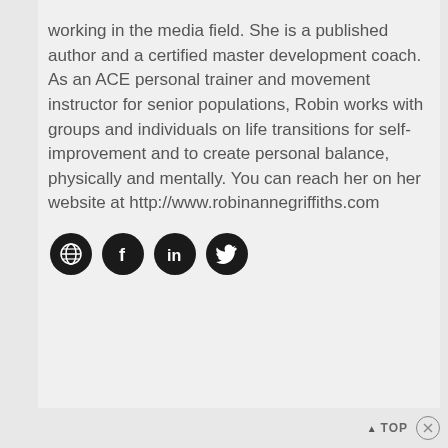working in the media field. She is a published author and a certified master development coach. As an ACE personal trainer and movement instructor for senior populations, Robin works with groups and individuals on life transitions for self-improvement and to create personal balance, physically and mentally. You can reach her on her website at http://www.robinannegriffiths.com
[Figure (other): Four circular black social media icons: globe/website, Facebook, LinkedIn, Twitter]
▲ TOP ✕